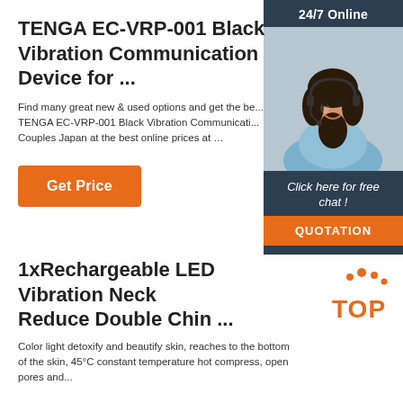TENGA EC-VRP-001 Black Vibration Communication Device for ...
Find many great new & used options and get the be... TENGA EC-VRP-001 Black Vibration Communicati... Couples Japan at the best online prices at ...
[Figure (infographic): 24/7 Online customer support widget with a woman wearing a headset, dark blue header, and orange QUOTATION button with 'Click here for free chat!' text]
Get Price
1xRechargeable LED Vibration Neck Reduce Double Chin ...
[Figure (logo): TOP logo with orange dots above text]
Color light detoxify and beautify skin, reaches to the bottom of the skin, 45°C constant temperature hot compress, open pores and...